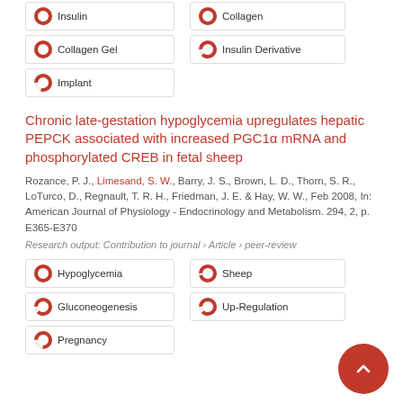Insulin
Collagen
Collagen Gel
Insulin Derivative
Implant
Chronic late-gestation hypoglycemia upregulates hepatic PEPCK associated with increased PGC1α mRNA and phosphorylated CREB in fetal sheep
Rozance, P. J., Limesand, S. W., Barry, J. S., Brown, L. D., Thorn, S. R., LoTurco, D., Regnault, T. R. H., Friedman, J. E. & Hay, W. W., Feb 2008, In: American Journal of Physiology - Endocrinology and Metabolism. 294, 2, p. E365-E370
Research output: Contribution to journal › Article › peer-review
Hypoglycemia
Sheep
Gluconeogenesis
Up-Regulation
Pregnancy